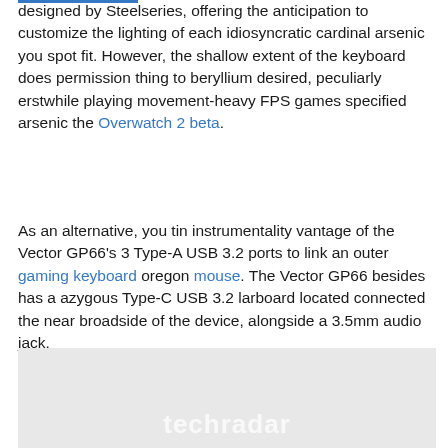designed by Steelseries, offering the anticipation to customize the lighting of each idiosyncratic cardinal arsenic you spot fit. However, the shallow extent of the keyboard does permission thing to beryllium desired, peculiarly erstwhile playing movement-heavy FPS games specified arsenic the Overwatch 2 beta.
As an alternative, you tin instrumentality vantage of the Vector GP66's 3 Type-A USB 3.2 ports to link an outer gaming keyboard oregon mouse. The Vector GP66 besides has a azygous Type-C USB 3.2 larboard located connected the near broadside of the device, alongside a 3.5mm audio jack.
[Figure (photo): Gray placeholder image with TechRadar watermark text at the bottom center]